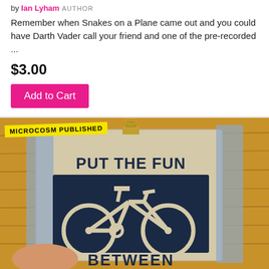by Ian Lyham AUTHOR
Remember when Snakes on a Plane came out and you could have Darth Vader call your friend and one of the pre-recorded ...
$3.00
Add to Cart
[Figure (photo): A hand-held fabric patch pinned with a binder clip reading 'PUT THE FUN BETWEEN' with a bicycle graphic, placed on a wooden surface. Yellow badge overlay reads 'MICROCOSM PUBLISHED'.]